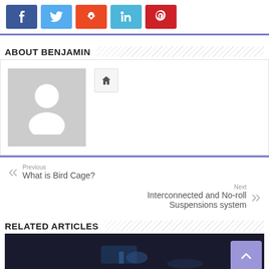[Figure (other): Social sharing buttons: Facebook (blue), Twitter (light blue), StumbleUpon (orange-red), LinkedIn (light blue), Pinterest (red)]
ABOUT BENJAMIN
[Figure (other): Author profile area with gray placeholder avatar silhouette and a home icon button]
Previous
What is Bird Cage?
Next
Interconnected and No-roll Suspensions system
RELATED ARTICLES
[Figure (photo): Dark background image partially visible at the bottom of the page, appears to show a sci-fi or mechanical scene]